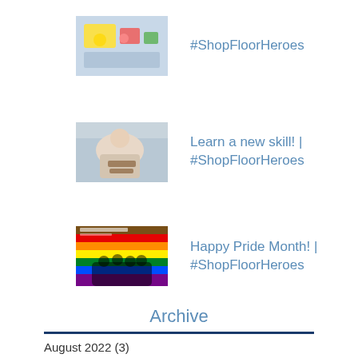[Figure (photo): Thumbnail photo of person crafting/decorating at a table with colorful items]
#ShopFloorHeroes
[Figure (photo): Thumbnail photo of person learning a new skill, close-up of hands]
Learn a new skill! | #ShopFloorHeroes
[Figure (photo): Thumbnail image showing a Pride Month post with rainbow pride flag and group of people]
Happy Pride Month! | #ShopFloorHeroes
Archive
August 2022 (3)
July 2022 (5)